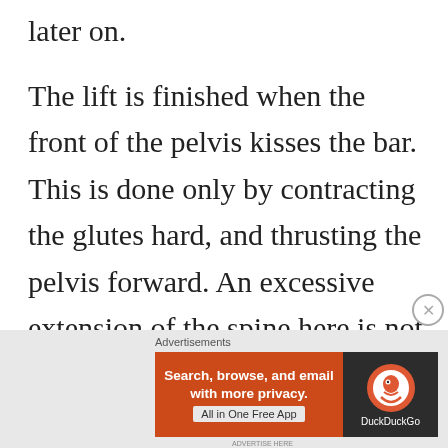later on.
The lift is finished when the front of the pelvis kisses the bar. This is done only by contracting the glutes hard, and thrusting the pelvis forward. An excessive extension of the spine here is not necessary, and is not recommended. Many young lifters will stop when they feel their knees are straight, and their spine is upright, but if you look at them closely they will appear to be positioned slightly over the bar and not behind
[Figure (screenshot): DuckDuckGo advertisement banner: 'Search, browse, and email with more privacy. All in One Free App' on orange background with DuckDuckGo logo on dark right panel]